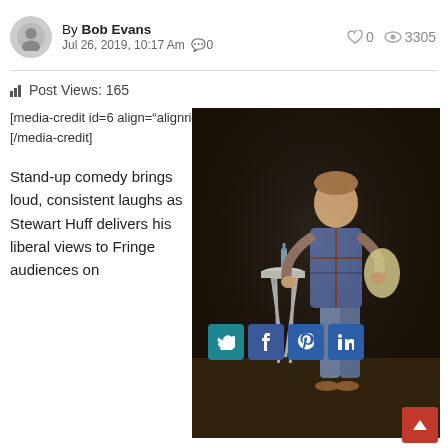By Bob Evans
Jul 26, 2019, 10:17 Am  0  |  0  3305
Post Views: 165
[media-credit id=6 align="alignright" width="286"] [/media-credit]
[Figure (photo): Stand-up comedian Stewart Huff performing on stage, standing next to a stool with a bottle on it, wearing a plaid shirt and jeans, carrying a bag, gesturing with hands]
Stand-up comedy brings loud, consistent laughs as Stewart Huff delivers his liberal views to Fringe audiences on